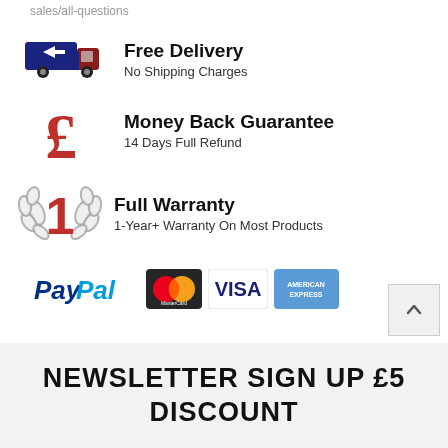sales/all-questions
[Figure (infographic): Free Delivery icon with truck graphic, Money Back Guarantee with GBP symbol, Full Warranty with number 1 badge, payment logos: PayPal, MasterCard, Visa, American Express]
Free Delivery
No Shipping Charges
Money Back Guarantee
14 Days Full Refund
Full Warranty
1-Year+ Warranty On Most Products
NEWSLETTER SIGN UP £5 DISCOUNT